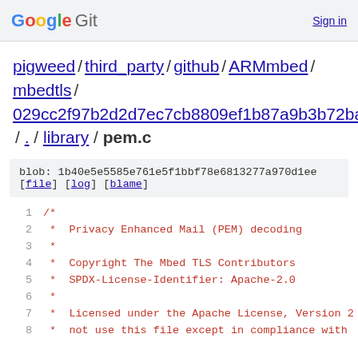Google Git   Sign in
pigweed / third_party / github / ARMmbed / mbedtls / 029cc2f97b2d2d7ec7cb8809ef1b87a9b3b72bae / . / library / pem.c
blob: 1b40e5e5585e761e5f1bbf78e6813277a970d1ee [file] [log] [blame]
1  /*
2   *  Privacy Enhanced Mail (PEM) decoding
3   *
4   *  Copyright The Mbed TLS Contributors
5   *  SPDX-License-Identifier: Apache-2.0
6   *
7   *  Licensed under the Apache License, Version 2
8   *  not use this file except in compliance with